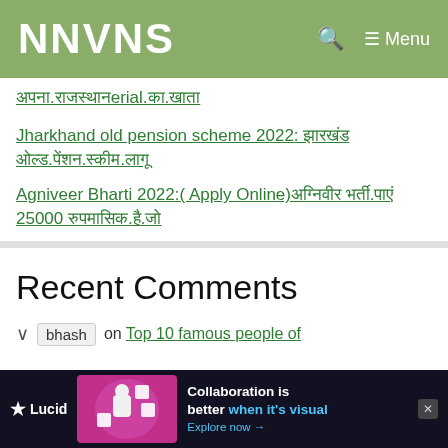NNVNS
अपना.राजस्थान.का.खाता
Jharkhand old pension scheme 2022: झारखंड ओल्ड.पेंशन.स्कीम.लागू
Agniveer Bharti 2022:( Apply Online)अग्निवीर भर्ती.पाएं 25000 रुपमासिक.है.जो
Recent Comments
bhash on Top 10 famous people of
[Figure (screenshot): Advertisement banner for Lucid: Collaboration is better when it's visual. Explore now →]